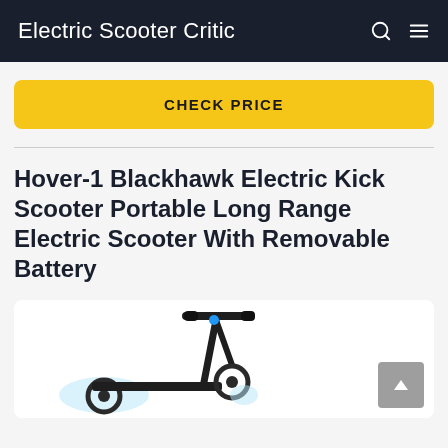Electric Scooter Critic
CHECK PRICE
Hover-1 Blackhawk Electric Kick Scooter Portable Long Range Electric Scooter With Removable Battery
[Figure (photo): Electric scooter (Hover-1 Blackhawk) shown from the side with handlebars, light blue accent near the stem, and foot deck visible, partially cropped at the bottom of the page.]